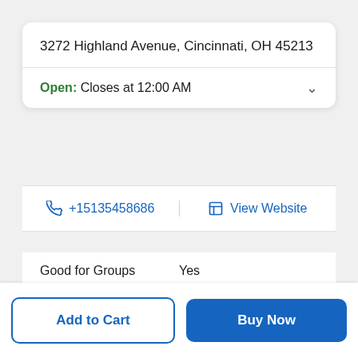3272 Highland Avenue, Cincinnati, OH 45213
Open: Closes at 12:00 AM
+15135458686
View Website
Good for Groups    Yes
Add to Cart
Buy Now